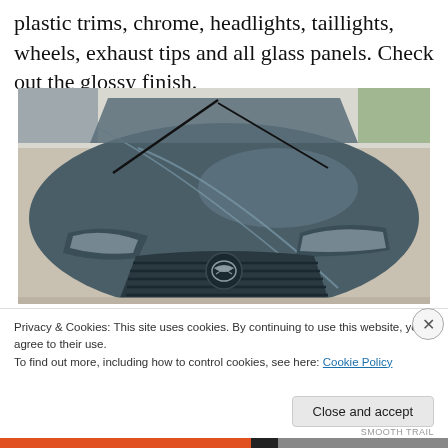plastic trims, chrome, headlights, taillights, wheels, exhaust tips and all glass panels. Check out the glossy finish.
[Figure (photo): Front view of a gray Mazda car (likely Mazda 6 or CX-5) showing the hood, windshield with wipers, headlights, and front grille with Mazda logo, taken from a slightly elevated angle inside a showroom or garage.]
Privacy & Cookies: This site uses cookies. By continuing to use this website, you agree to their use.
To find out more, including how to control cookies, see here: Cookie Policy
Close and accept